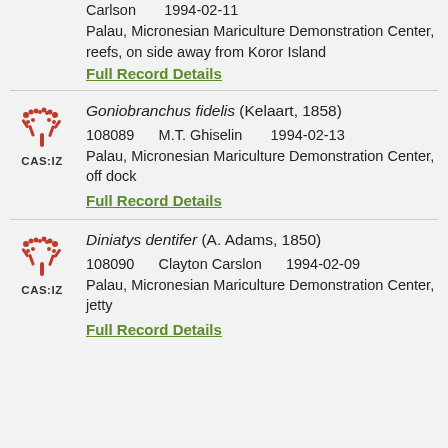Carlson    1994-02-11
Palau, Micronesian Mariculture Demonstration Center, reefs, on side away from Koror Island
Full Record Details
Goniobranchus fidelis (Kelaart, 1858)
108089    M.T. Ghiselin    1994-02-13
Palau, Micronesian Mariculture Demonstration Center, off dock
Full Record Details
Diniatys dentifer (A. Adams, 1850)
108090    Clayton Carslon    1994-02-09
Palau, Micronesian Mariculture Demonstration Center, jetty
Full Record Details